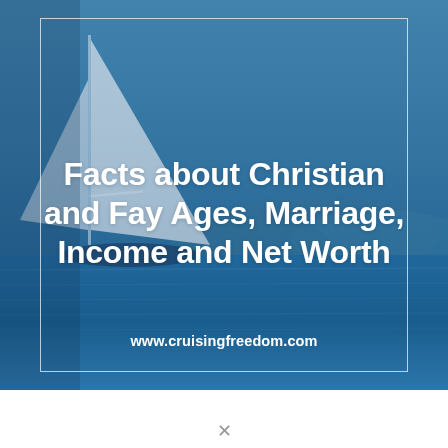[Figure (photo): Sailboat on blue ocean water with mountains in the background, blue toned photo used as background image for title card]
Facts about Christian and Fay Ages, Marriage, Income and Net Worth
www.cruisingfreedom.com